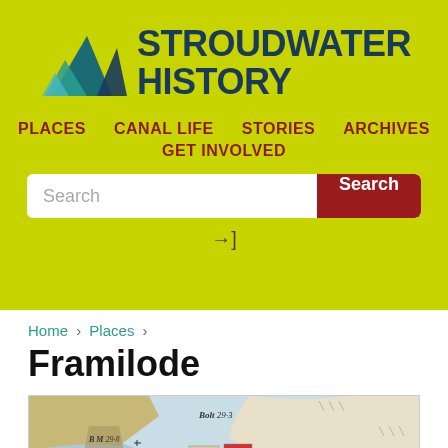[Figure (logo): Stroudwater History logo with teal mountain/wave shapes and dark blue bold text reading STROUDWATER HISTORY on yellow-green background]
PLACES   CANAL LIFE   STORIES   ARCHIVES   GET INVOLVED
Search [search box] [Search button] [login icon]
Home › Places ›
Framilode
[Figure (map): Antique ordnance survey style map showing Framilode area with notations: Bolt 29.3, B.M 29.8, and numbered parcels 1, 2, 5, 8]